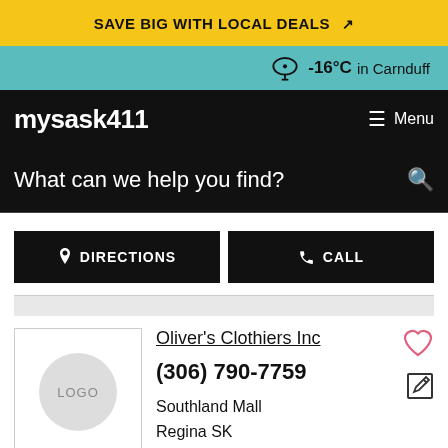SAVE BIG WITH LOCAL DEALS
-16°C in Carnduff
mysask411  Menu
What can we help you find?
DIRECTIONS  CALL
Oliver's Clothiers Inc
(306) 790-7759
Southland Mall
Regina SK
CLOSED